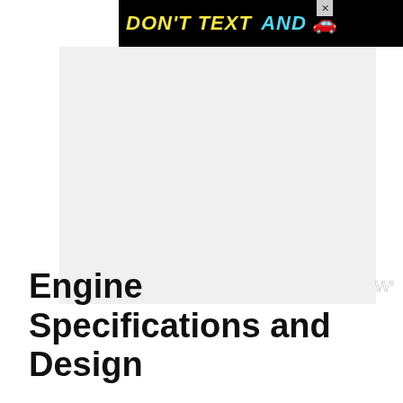[Figure (other): NHTSA 'DON'T TEXT AND DRIVE' advertisement banner with yellow and cyan text on black background, red car emoji, ad label, and NHTSA logo with dots]
Engine Specifications and Design